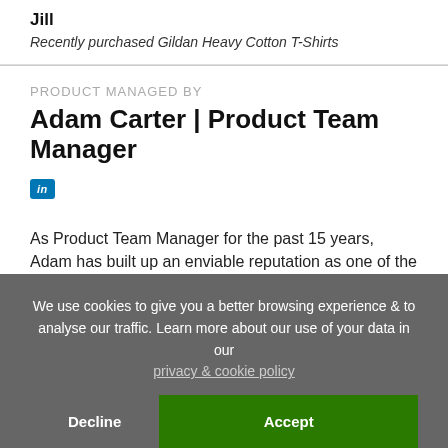Jill
Recently purchased Gildan Heavy Cotton T-Shirts
PRODUCT MANAGED BY
Adam Carter | Product Team Manager
[Figure (logo): LinkedIn icon badge in blue]
As Product Team Manager for the past 15 years, Adam has built up an enviable reputation as one of the
We use cookies to give you a better browsing experience & to analyse our traffic. Learn more about our use of your data in our privacy & cookie policy
Decline
Accept